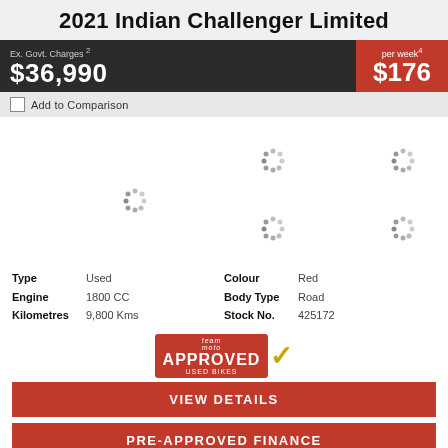2021 Indian Challenger Limited
Ex. Govt. Charges 2 $36,990 per week4 $176
Add to Comparison
[Figure (other): Loading spinner placeholder images (5 spinner icons arranged in a grid representing motorcycle images still loading)]
| Type | Used | Colour | Red |
| Engine | 1800 CC | Body Type | Road |
| Kilometres | 9,800 Kms | Stock No. | 425172 |
[Figure (logo): Team Moto APPROVED USED BIKES badge with checkmark]
VIEW DETAILS
PRE-APPROVED FINANCE